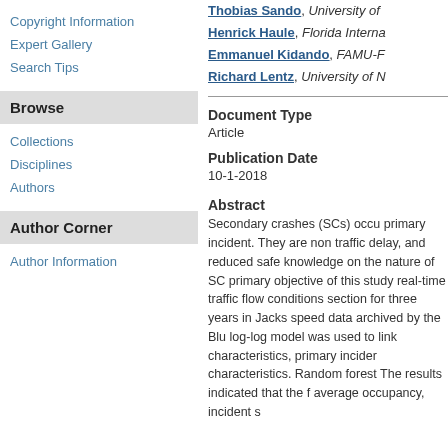Copyright Information
Expert Gallery
Search Tips
Browse
Collections
Disciplines
Authors
Author Corner
Author Information
Thobias Sando, University of
Henrick Haule, Florida Interna
Emmanuel Kidando, FAMU-F
Richard Lentz, University of N
Document Type
Article
Publication Date
10-1-2018
Abstract
Secondary crashes (SCs) occu primary incident. They are non traffic delay, and reduced safe knowledge on the nature of SC primary objective of this study real-time traffic flow conditions section for three years in Jacks speed data archived by the Blu log-log model was used to link characteristics, primary incider characteristics. Random forest The results indicated that the f average occupancy, incident s